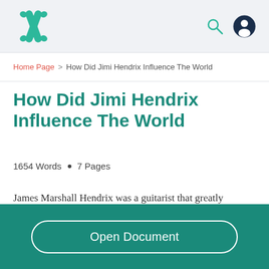Header bar with logo and navigation icons (search, user profile)
Home Page > How Did Jimi Hendrix Influence The World
How Did Jimi Hendrix Influence The World
1654 Words  •  7 Pages
James Marshall Hendrix was a guitarist that greatly
Open Document